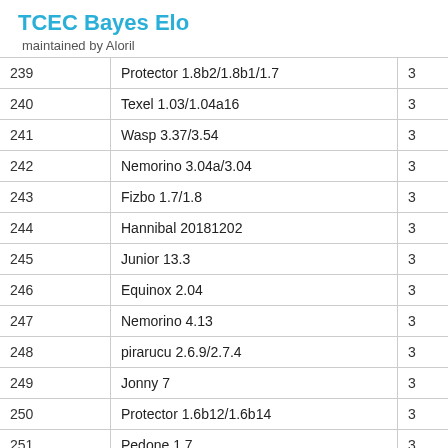TCEC Bayes Elo
maintained by Aloril
| # | Engine |  |
| --- | --- | --- |
| 239 | Protector 1.8b2/1.8b1/1.7 | 3 |
| 240 | Texel 1.03/1.04a16 | 3 |
| 241 | Wasp 3.37/3.54 | 3 |
| 242 | Nemorino 3.04a/3.04 | 3 |
| 243 | Fizbo 1.7/1.8 | 3 |
| 244 | Hannibal 20181202 | 3 |
| 245 | Junior 13.3 | 3 |
| 246 | Equinox 2.04 | 3 |
| 247 | Nemorino 4.13 | 3 |
| 248 | pirarucu 2.6.9/2.7.4 | 3 |
| 249 | Jonny 7 | 3 |
| 250 | Protector 1.6b12/1.6b14 | 3 |
| 251 | Pedone 1.7 | 3 |
| 252 |  | 3 |